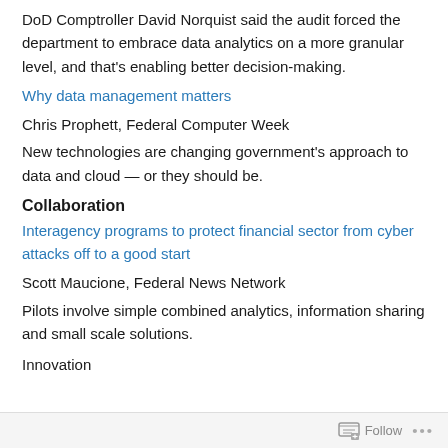DoD Comptroller David Norquist said the audit forced the department to embrace data analytics on a more granular level, and that's enabling better decision-making.
Why data management matters
Chris Prophett, Federal Computer Week
New technologies are changing government's approach to data and cloud — or they should be.
Collaboration
Interagency programs to protect financial sector from cyber attacks off to a good start
Scott Maucione, Federal News Network
Pilots involve simple combined analytics, information sharing and small scale solutions.
Innovation
Follow ...